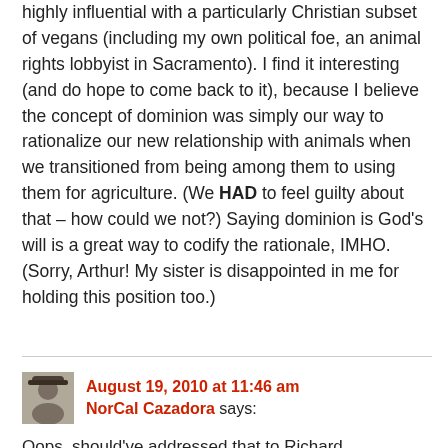highly influential with a particularly Christian subset of vegans (including my own political foe, an animal rights lobbyist in Sacramento). I find it interesting (and do hope to come back to it), because I believe the concept of dominion was simply our way to rationalize our new relationship with animals when we transitioned from being among them to using them for agriculture. (We HAD to feel guilty about that – how could we not?) Saying dominion is God's will is a great way to codify the rationale, IMHO. (Sorry, Arthur! My sister is disappointed in me for holding this position too.)
August 19, 2010 at 11:46 am
NorCal Cazadora says:
Oops, should've addressed that to Richard